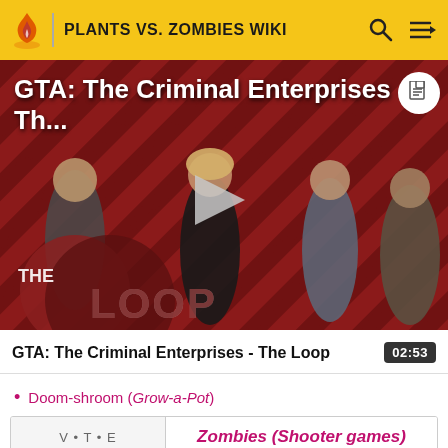PLANTS VS. ZOMBIES WIKI
[Figure (screenshot): Video thumbnail for 'GTA: The Criminal Enterprises - Th...' showing game characters on a red diagonal striped background with a play button overlay and 'THE LOOP' logo in the lower left. A document icon appears in the top right.]
GTA: The Criminal Enterprises - The Loop	02:53
Doom-shroom (Grow-a-Pot)
| V • T • E | Zombies (Shooter games) |
| --- | --- |